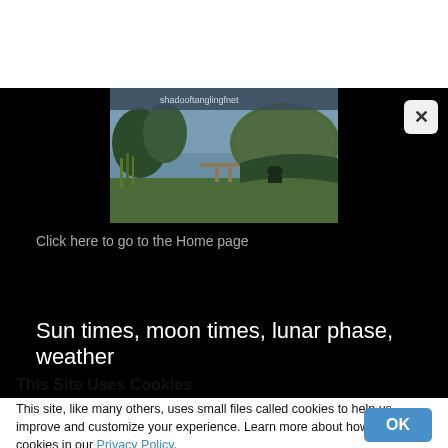[Figure (photo): Camping/fishing scene by a lake with trees and a green umbrella/tent shelter, with a URL partially visible at the top of the image]
Click here to go to the Home page
Sun times, moon times, lunar phase, weather
This Site Uses Cookies
This site, like many others, uses small files called cookies to help us improve and customize your experience. Learn more about how we use cookies in our Privacy Policy.